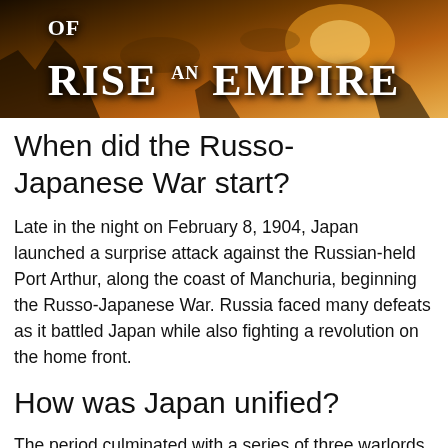[Figure (illustration): Banner image reading 'RISE OF AN EMPIRE' in large white stylized text over a dark, warm-toned illustrated background suggesting a historical battle scene.]
When did the Russo-Japanese War start?
Late in the night on February 8, 1904, Japan launched a surprise attack against the Russian-held Port Arthur, along the coast of Manchuria, beginning the Russo-Japanese War. Russia faced many defeats as it battled Japan while also fighting a revolution on the home front.
How was Japan unified?
The period culminated with a series of three warlords – Oda Nobunaga, Toyotomi